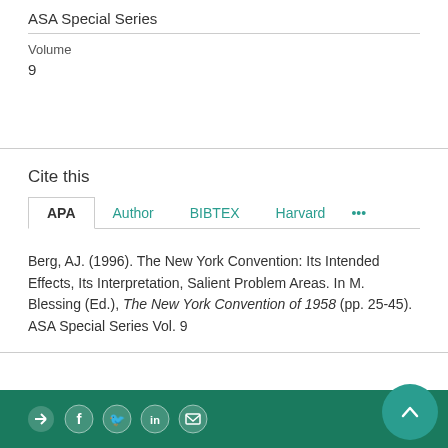ASA Special Series
Volume
9
Cite this
APA   Author   BIBTEX   Harvard   ...
Berg, AJ. (1996). The New York Convention: Its Intended Effects, Its Interpretation, Salient Problem Areas. In M. Blessing (Ed.), The New York Convention of 1958 (pp. 25-45). ASA Special Series Vol. 9